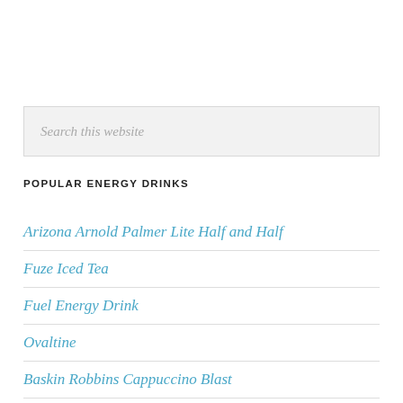[Figure (screenshot): Search bar with placeholder text 'Search this website' on a light gray background]
POPULAR ENERGY DRINKS
Arizona Arnold Palmer Lite Half and Half
Fuze Iced Tea
Fuel Energy Drink
Ovaltine
Baskin Robbins Cappuccino Blast